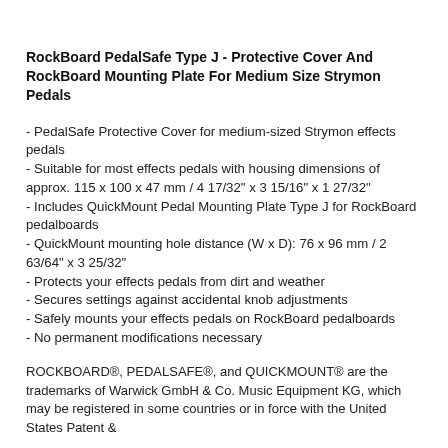RockBoard PedalSafe Type J - Protective Cover And RockBoard Mounting Plate For Medium Size Strymon Pedals
- PedalSafe Protective Cover for medium-sized Strymon effects pedals
- Suitable for most effects pedals with housing dimensions of approx. 115 x 100 x 47 mm / 4 17/32" x 3 15/16" x 1 27/32"
- Includes QuickMount Pedal Mounting Plate Type J for RockBoard pedalboards
- QuickMount mounting hole distance (W x D): 76 x 96 mm / 2 63/64" x 3 25/32"
- Protects your effects pedals from dirt and weather
- Secures settings against accidental knob adjustments
- Safely mounts your effects pedals on RockBoard pedalboards
- No permanent modifications necessary
ROCKBOARD®, PEDALSAFE®, and QUICKMOUNT® are the trademarks of Warwick GmbH & Co. Music Equipment KG, which may be registered in some countries or in force with the United States Patent &...